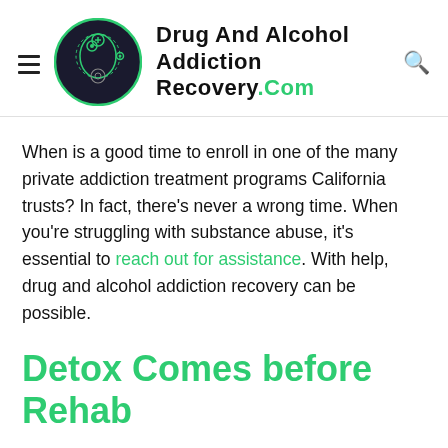[Figure (logo): Drug and Alcohol Addiction Recovery website header with circular brain/head logo with green accents, hamburger menu icon, site title text, and search icon]
When is a good time to enroll in one of the many private addiction treatment programs California trusts? In fact, there's never a wrong time. When you're struggling with substance abuse, it's essential to reach out for assistance. With help, drug and alcohol addiction recovery can be possible.
Detox Comes before Rehab